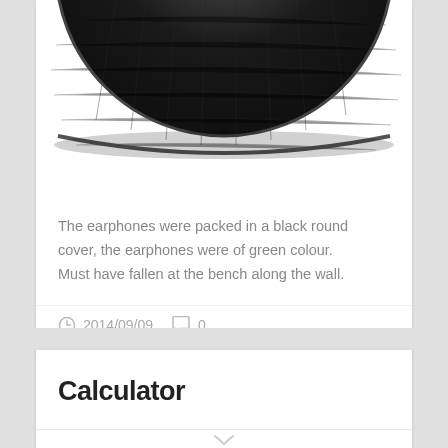[Figure (photo): Bottom portion of black round earphone case/cover, partially visible at top of card]
The earphones were packed in a black round cover, the earphones were of green colour.
Must have fallen at the bench along the wall.
2014/09/09   0
Calculator
Scientific Calculator